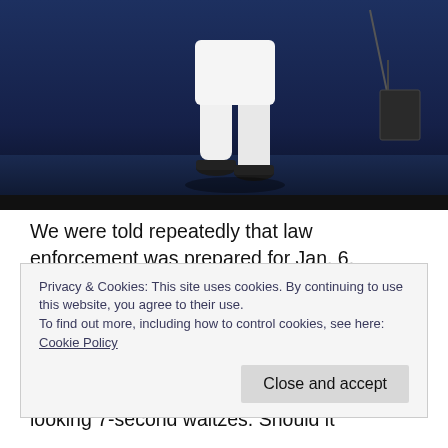[Figure (photo): Photograph showing the lower body of a person in white pants and dark shoes walking on a dark blue stage, viewed from behind/side. Dark blue curtain and stage equipment visible in background.]
We were told repeatedly that law enforcement was prepared for Jan. 6. Capitol Hill police, D.C. police and more 340 National Guard troops were in place. Yet, here we see a token and rather amateur security line easily breached. Notice a few protesters and police in choreographed-looking 7-second waltzes. Should it
Privacy & Cookies: This site uses cookies. By continuing to use this website, you agree to their use.
To find out more, including how to control cookies, see here: Cookie Policy
Close and accept